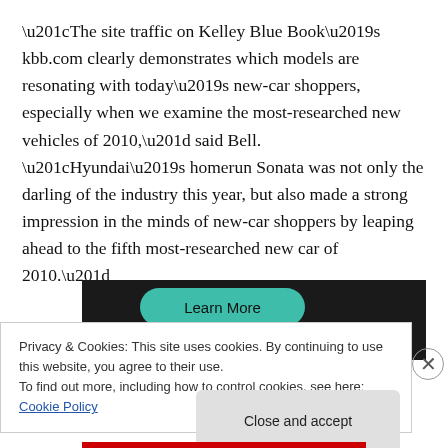“The site traffic on Kelley Blue Book’s kbb.com clearly demonstrates which models are resonating with today’s new-car shoppers, especially when we examine the most-researched new vehicles of 2010,” said Bell.  “Hyundai’s homerun Sonata was not only the darling of the industry this year, but also made a strong impression in the minds of new-car shoppers by leaping ahead to the fifth most-researched new car of 2010.”
[Figure (screenshot): Dark banner with a teal 'Learn More' rounded button]
Privacy & Cookies: This site uses cookies. By continuing to use this website, you agree to their use.
To find out more, including how to control cookies, see here: Cookie Policy
Close and accept